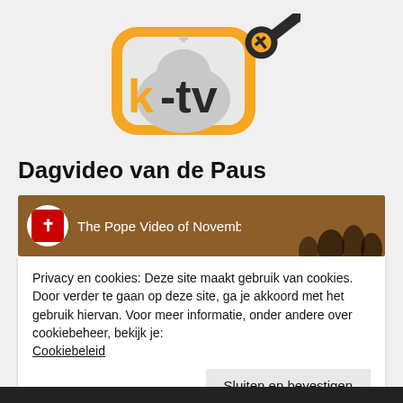[Figure (logo): K-TV logo: orange rounded rectangle TV shape with church dome silhouette, 'k-tv' text in orange and dark, with a decorative key icon featuring a cross]
Dagvideo van de Paus
[Figure (screenshot): YouTube video thumbnail showing 'The Pope Video of November 2019...' with Vatican channel icon and crowd silhouettes on brown background]
Privacy en cookies: Deze site maakt gebruik van cookies. Door verder te gaan op deze site, ga je akkoord met het gebruik hiervan. Voor meer informatie, onder andere over cookiebeheer, bekijk je: Cookiebeleid
Sluiten en bevestigen